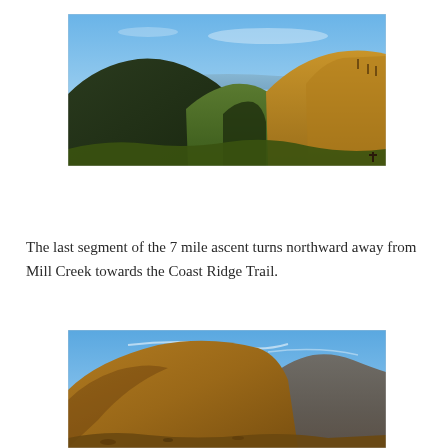[Figure (photo): Panoramic landscape photograph showing rolling hills with a valley, ocean visible in the background, blue sky above, green and brown terrain with scattered vegetation]
The last segment of the 7 mile ascent turns northward away from Mill Creek towards the Coast Ridge Trail.
[Figure (photo): Landscape photograph showing a steep hillside with dry brown grassy terrain and rocky mountains, blue sky with wispy clouds]